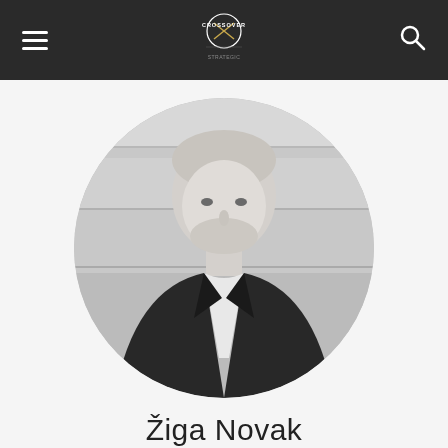CROSSOVER
[Figure (photo): Black and white circular portrait photo of Žiga Novak, a man with short blonde hair and a beard wearing a dark blazer over a white shirt, photographed against a blurred wooden background.]
Žiga Novak
Founder of the Walnut Grove Group